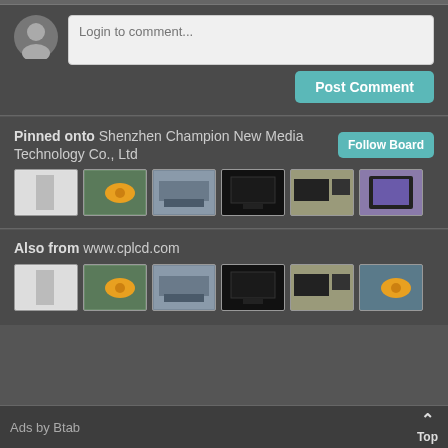Login to comment...
Post Comment
Pinned onto Shenzhen Champion New Media Technology Co., Ltd
Follow Board
[Figure (photo): Six thumbnail images of display products]
Also from www.cplcd.com
[Figure (photo): Six thumbnail images of display products]
Ads by Btab
Top